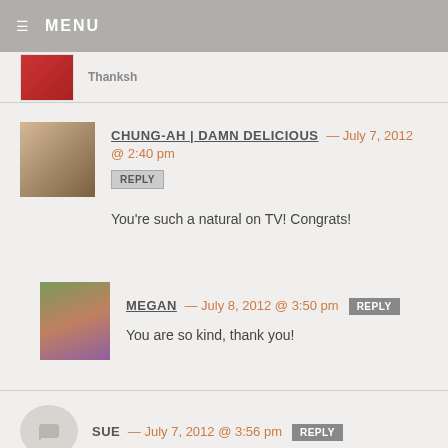MENU
Thanksh
CHUNG-AH | DAMN DELICIOUS — July 7, 2012 @ 2:40 pm
REPLY
You're such a natural on TV! Congrats!
MEGAN — July 8, 2012 @ 3:50 pm REPLY
You are so kind, thank you!
SUE — July 7, 2012 @ 3:56 pm REPLY
You did a great job on TV, Megan! Keep it up!